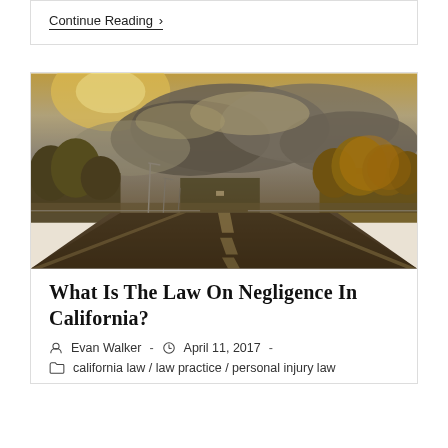Continue Reading ›
[Figure (photo): A two-lane highway stretching into the distance under a dramatic cloudy sky with golden-toned trees on both sides and street lights visible on the left.]
What Is The Law On Negligence In California?
Evan Walker  -  April 11, 2017  -
california law / law practice / personal injury law